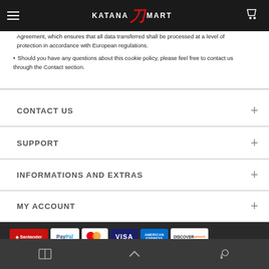KATANA MART navigation bar
Agreement, which ensures that all data transferred shall be processed at a level of protection in accordance with European regulations.
Should you have any questions about this cookie policy, please feel free to contact us through the Contact section.
CONTACT US
SUPPORT
INFORMATIONS AND EXTRAS
MY ACCOUNT
[Figure (screenshot): Payment method icons: Santander, PayPal, MasterCard, Visa, American Express, Discover]
Our webstore uses cookies to offer a better
Browser navigation bar with tab, up arrow, and settings icons